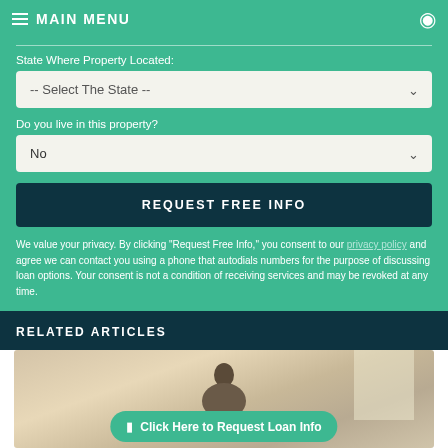MAIN MENU
State Where Property Located:
-- Select The State --
Do you live in this property?
No
REQUEST FREE INFO
We value your privacy. By clicking "Request Free Info," you consent to our privacy policy and agree we can contact you using a phone that autodials numbers for the purpose of discussing loan options. Your consent is not a condition of receiving services and may be revoked at any time.
RELATED ARTICLES
[Figure (photo): Photo of elderly person at kitchen table, with a teal CTA button overlay reading 'Click Here to Request Loan Info']
Click Here to Request Loan Info